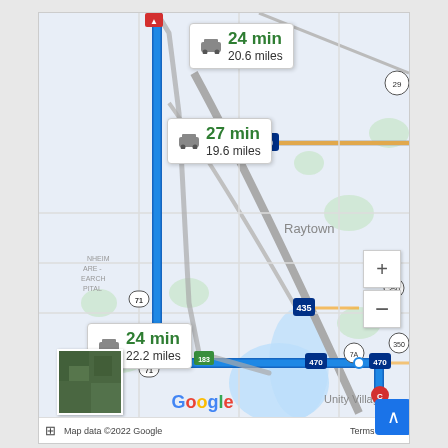[Figure (map): Google Maps screenshot showing three driving route options from a starting point in the Kansas City area. Route 1: 24 min, 20.6 miles. Route 2: 27 min, 19.6 miles. Route 3 (selected): 24 min, 22.2 miles. Routes shown with blue highlighted path going south on US-71 then east on I-470 toward Unity Village area. Map shows neighborhoods including East Side, Raytown, and Unity Village. Roads labeled include I-70, I-435, US-71, route 350, route 7A, and I-470. Map data ©2022 Google.]
Map data ©2022 Google   Terms of Use